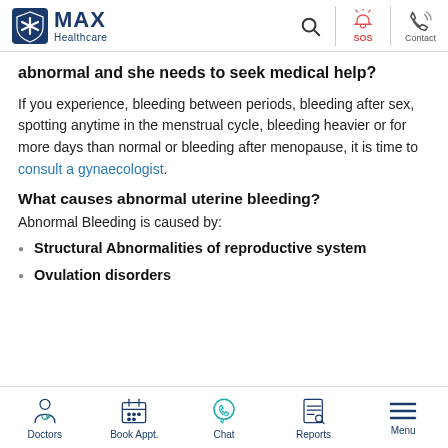MAX Healthcare — Search, SOS, Contact
abnormal and she needs to seek medical help?
If you experience, bleeding between periods, bleeding after sex, spotting anytime in the menstrual cycle, bleeding heavier or for more days than normal or bleeding after menopause, it is time to consult a gynaecologist.
What causes abnormal uterine bleeding?
Abnormal Bleeding is caused by:
Structural Abnormalities of reproductive system
Ovulation disorders
Doctors | Book Appt. | Chat | Reports | Menu